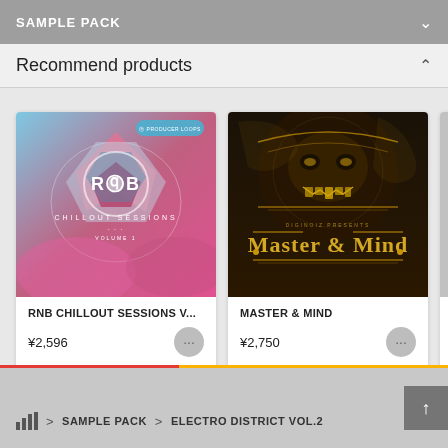SAMPLE PACK
Recommend products
[Figure (screenshot): RnB Chillout Sessions Vol.1 album art — blue/pink abstract geometric shapes with text RnB Chillout Sessions Volume 1, Producer Loops badge]
RNB CHILLOUT SESSIONS V...
¥2,596
[Figure (screenshot): Master & Mind album art — dark background with golden decorative skull and ornate text Master & Mind, Diginoiz Presents]
MASTER & MIND
¥2,750
SAMPLE PACK > ELECTRO DISTRICT VOL.2